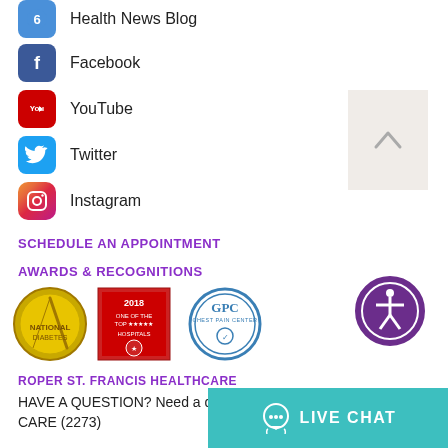Health News Blog
Facebook
YouTube
Twitter
Instagram
SCHEDULE AN APPOINTMENT
AWARDS & RECOGNITIONS
[Figure (illustration): Three award badges/seals: a gold circular medal, a 2018 red award badge, and a blue GPC Chest Pain Center circular seal]
ROPER ST. FRANCIS HEALTHCARE
HAVE A QUESTION? Need a doctor referral? Call (843) 402-CARE (2273)
[Figure (illustration): Live Chat button with headset icon and text LIVE CHAT on teal background]